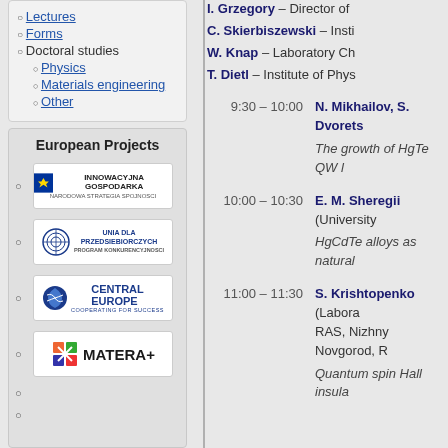Lectures
Forms
Doctoral studies
Physics
Materials engineering
Other
European Projects
[Figure (logo): Innowacyjna Gospodarka logo - Narodowa Strategia Spojnosci]
[Figure (logo): Unia dla przedsiebiorczych - Program Konkurencyjnosci logo]
[Figure (logo): Central Europe - Cooperating for Success logo]
[Figure (logo): MATERA+ logo]
I. Grzegory – Director of
C. Skierbiszewski – Insti
W. Knap – Laboratory Ch
T. Dietl – Institute of Phys
9:30 – 10:00   N. Mikhailov, S. Dvorets
The growth of HgTe QW l
10:00 – 10:30   E. M. Sheregii (University
HgCdTe alloys as natural
11:00 – 11:30   S. Krishtopenko (Labora RAS, Nizhny Novgorod, R
Quantum spin Hall insula